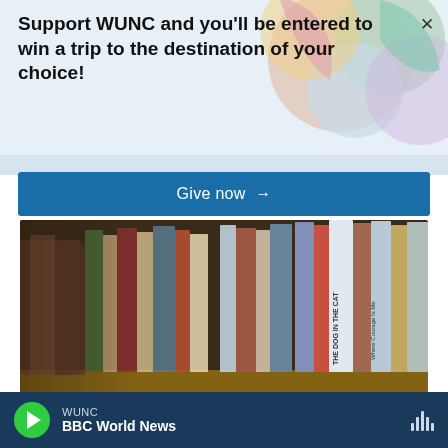Support WUNC and you'll be entered to win a trip to the destination of your choice!
Give now →
[Figure (photo): Close-up photograph of books on a library shelf, slightly blurred, showing colorful book spines including titles like 'THE DOG' and others partially visible.]
A Florida district declines
WUNC | BBC World News